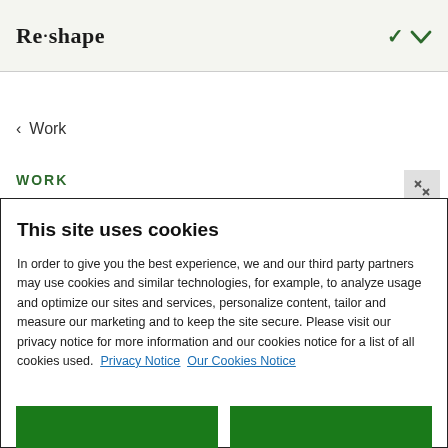Re·shape
< Work
WORK
This site uses cookies
In order to give you the best experience, we and our third party partners may use cookies and similar technologies, for example, to analyze usage and optimize our sites and services, personalize content, tailor and measure our marketing and to keep the site secure. Please visit our privacy notice for more information and our cookies notice for a list of all cookies used.  Privacy Notice  Our Cookies Notice